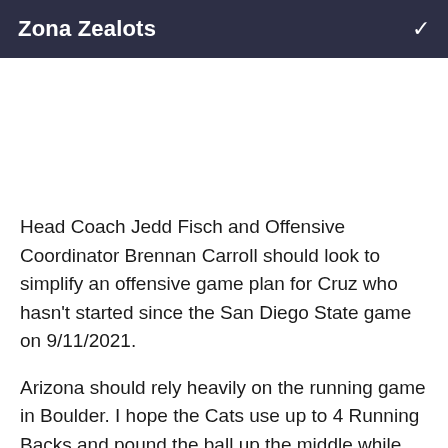Zona Zealots
Head Coach Jedd Fisch and Offensive Coordinator Brennan Carroll should look to simplify an offensive game plan for Cruz who hasn't started since the San Diego State game on 9/11/2021.
Arizona should rely heavily on the running game in Boulder. I hope the Cats use up to 4 Running Backs and pound the ball up the middle while not forgetting to capture the edge. I'd like to see Arizona give a dose of pulling guards to get out and smash defenders